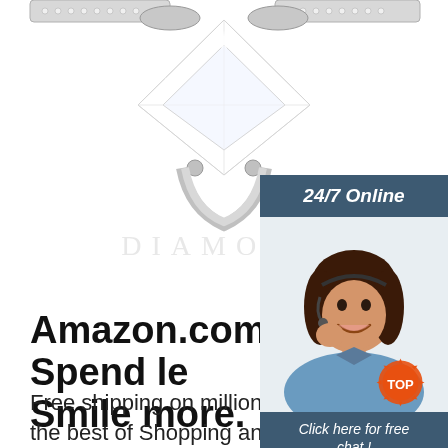[Figure (photo): Close-up photo of a diamond engagement ring with a large brilliant-cut diamond set on a silver band with pave diamonds. White background with subtle reflection below the ring.]
[Figure (infographic): Chat widget with dark blue header reading '24/7 Online', photo of a smiling customer service woman with headset, text 'Click here for free chat!', and an orange button labeled 'QUOTATION'.]
Amazon.com. Spend less. Smile more.
Free shipping on millions of items. Get the best of Shopping and Entertainment with Prime. Enjoy low prices and great deals on the largest selection of everyday essentials and other products, including
[Figure (illustration): Small orange 'TOP' badge/stamp graphic in bottom right area]